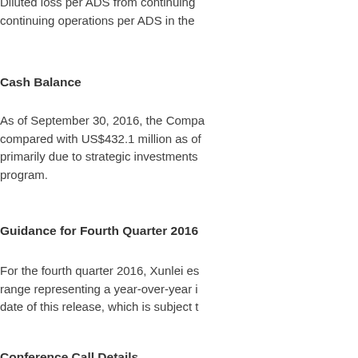Diluted loss per ADS from continuing operations per ADS in the continuing operations per ADS in the
Cash Balance
As of September 30, 2016, the Company compared with US$432.1 million as of primarily due to strategic investments program.
Guidance for Fourth Quarter 2016
For the fourth quarter 2016, Xunlei estimates range representing a year-over-year increase date of this release, which is subject to
Conference Call Details
Xunlei's management will host a conference call on November 10, 2016, to discuss its quarterly results.
To participate in the conference call, please dial at the following numbers at the scheduled time:
China: 400-120-0654
Hong Kong: 852-3018-4771